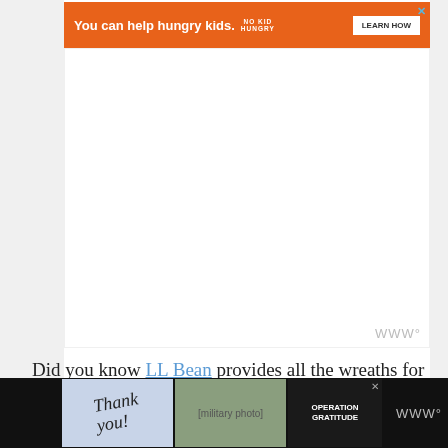[Figure (screenshot): Orange advertisement banner: 'You can help hungry kids.' with No Kid Hungry logo and 'LEARN HOW' button]
[Figure (screenshot): Gray/white empty ad space area with weather widget icon (www degree symbol) in bottom right corner]
Did you know LL Bean provides all the wreaths for Arlington National Cemetery at Christmas time? Made in Maine!  Maine is a proud contributor to Wreaths Across America each holiday season.
If you
[Figure (screenshot): kennebunk tree label text in blue hyperlink style]
[Figure (screenshot): Bottom black advertisement banner with Thank You military/Operation Gratitude ad, and weather widget icon on the right]